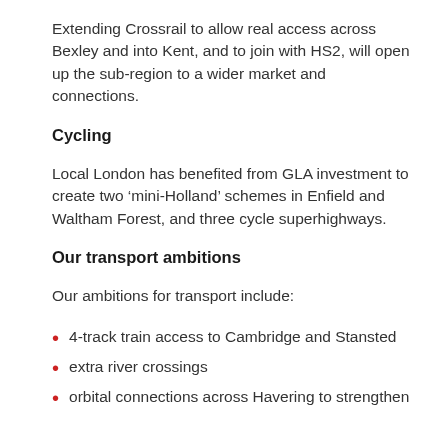Extending Crossrail to allow real access across Bexley and into Kent, and to join with HS2, will open up the sub-region to a wider market and connections.
Cycling
Local London has benefited from GLA investment to create two ‘mini-Holland’ schemes in Enfield and Waltham Forest, and three cycle superhighways.
Our transport ambitions
Our ambitions for transport include:
4-track train access to Cambridge and Stansted
extra river crossings
orbital connections across Havering to strengthen